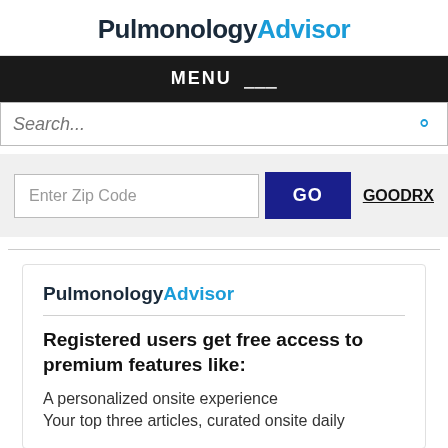PulmonologyAdvisor
MENU ☰
Search...
Enter Zip Code  GO  GOODRX
[Figure (logo): PulmonologyAdvisor logo inside card]
Registered users get free access to premium features like:
A personalized onsite experience
Your top three articles, curated onsite daily